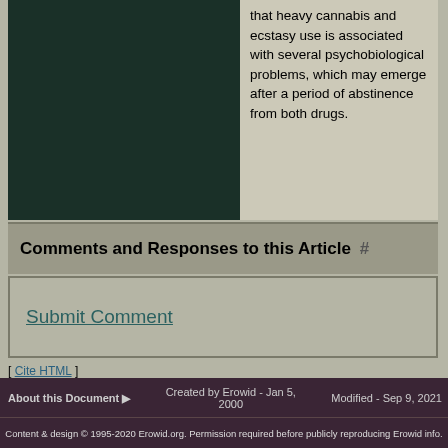[Figure (photo): Dark green/teal image panel on the left side of the content area]
that heavy cannabis and ecstasy use is associated with several psychobiological problems, which may emerge after a period of abstinence from both drugs.
Comments and Responses to this Article #
Submit Comment
[ Cite HTML ]
[ back to references ]
About this Document ▶   Created by Erowid - Jan 5, 2000   Modified - Sep 9, 2021
Content & design © 1995-2020 Erowid.org. Permission required before publicly reproducing Erowid info.